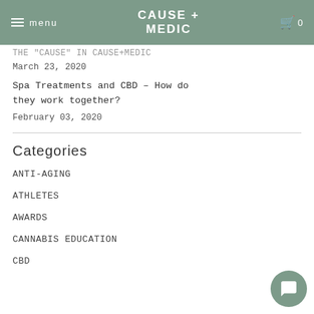CAUSE + MEDIC — menu / cart 0
THE "CAUSE" IN CAUSE+MEDIC
March 23, 2020
Spa Treatments and CBD – How do they work together?
February 03, 2020
Categories
ANTI-AGING
ATHLETES
AWARDS
CANNABIS EDUCATION
CBD